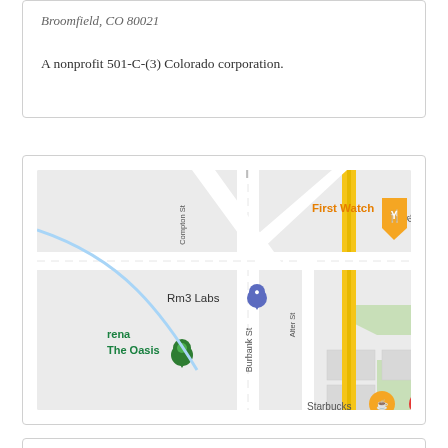Broomfield, CO 80021
A nonprofit 501-C-(3) Colorado corporation.
[Figure (map): Google Maps screenshot showing Burbank St area in Broomfield/Westminster CO near W 6th Ave, with markers for Rm3 Labs, First Watch, The Oasis, and Starbucks]